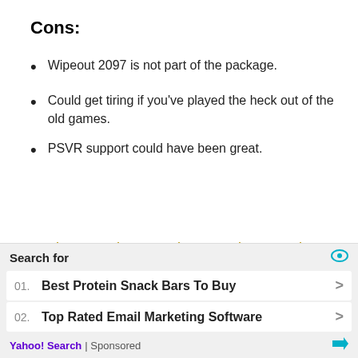Cons:
Wipeout 2097 is not part of the package.
Could get tiring if you've played the heck out of the old games.
PSVR support could have been great.
[Figure (other): Two rows of gold/silver stars rating graphic: top row 5 gold stars, bottom row 2 gold stars and 3 silver/grey stars, indicating approximately 7 out of 10 rating.]
Search for
01. Best Protein Snack Bars To Buy
02. Top Rated Email Marketing Software
Yahoo! Search | Sponsored